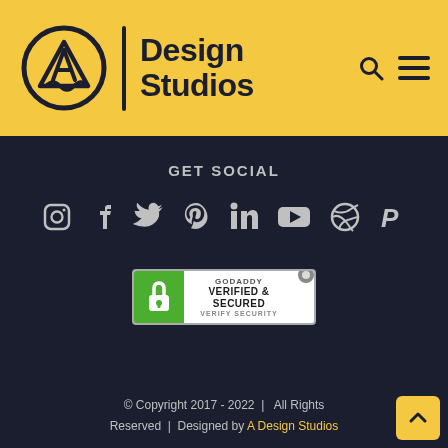[Figure (logo): A Design Studios logo: circular icon with letter A inside triangle, vertical divider line, bold text 'Design Studios', search icon, hamburger menu icon, on yellow background]
GET SOCIAL
[Figure (infographic): Row of social media icons: Instagram, Facebook, Twitter, Pinterest, LinkedIn, YouTube, Dribbble, PayPal]
[Figure (other): GoDaddy Verified & Secured seal badge with lock icon and 'VERIFY SECURITY' text]
© Copyright 2017 - 2022  |  All Rights Reserved  |  Designed by A Design Studios